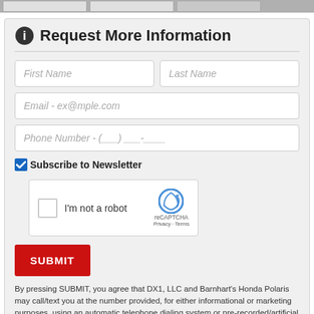[Figure (screenshot): Top strip showing partial images/thumbnails]
Request More Information
First Name
Last Name
Email - ex@mple.com
Phone Number - (___) ___-____
Subscribe to Newsletter
[Figure (screenshot): reCAPTCHA widget with checkbox and logo]
SUBMIT
By pressing SUBMIT, you agree that DX1, LLC and Barnhart's Honda Polaris may call/text you at the number provided, for either informational or marketing purposes, using an automatic telephone dialing system or pre-recorded/artificial voices. Msg/data rates may